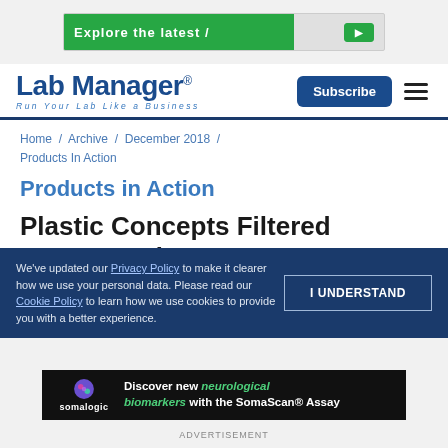[Figure (other): Top advertisement banner (green gradient)]
Lab Manager – Run Your Lab Like a Business | Subscribe button and menu icon
Home / Archive / December 2018 / Products In Action
Products in Action
Plastic Concepts Filtered Fume Hood
We've updated our Privacy Policy to make it clearer how we use your personal data. Please read our Cookie Policy to learn how we use cookies to provide you with a better experience.   I UNDERSTAND
[Figure (other): Somalogic advertisement: Discover new neurological biomarkers with the SomaScan® Assay]